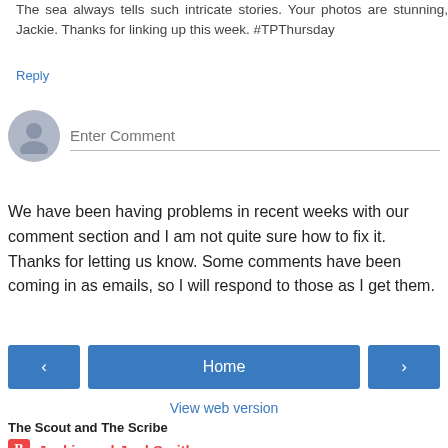The sea always tells such intricate stories. Your photos are stunning, Jackie. Thanks for linking up this week. #TPThursday
Reply
[Figure (other): User avatar placeholder icon and Enter Comment input field]
We have been having problems in recent weeks with our comment section and I am not quite sure how to fix it. Thanks for letting us know. Some comments have been coming in as emails, so I will respond to those as I get them.
[Figure (other): Navigation buttons: left arrow, Home, right arrow]
View web version
The Scout and The Scribe
Jackie and Joel Smith